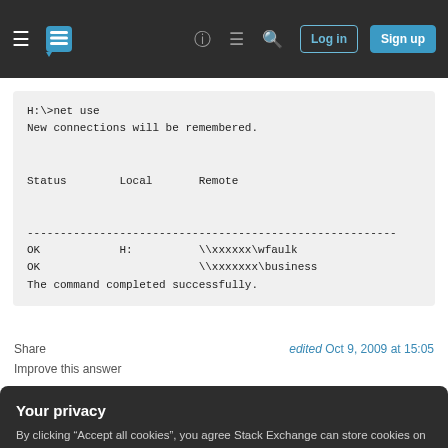Stack Exchange navigation bar with hamburger menu, logo, help, chat, search, Log in, Sign up
H:\>net use
New connections will be remembered.

Status        Local       Remote

--------------------------------------------------------
OK            H:          \\xxxxxx\wfaulk
OK                        \\xxxxxxx\business
The command completed successfully.
Share
edited Oct 9, 2009 at 15:05
Improve this answer
Your privacy
By clicking "Accept all cookies", you agree Stack Exchange can store cookies on your device and disclose information in accordance with our Cookie Policy.
Accept all cookies
Customize settings
drive which is currently disconnected. At least not on